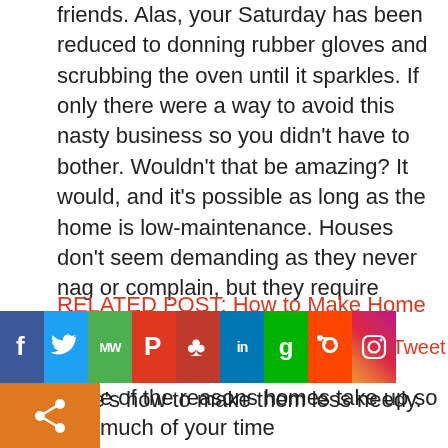friends. Alas, your Saturday has been reduced to donning rubber gloves and scrubbing the oven until it sparkles. If only there were a way to avoid this nasty business so you didn't have to bother. Wouldn't that be amazing? It would, and it's possible as long as the home is low-maintenance. Houses don't seem demanding as they never nag or complain, but they require plenty of attention.
RELATED POST: How to Make Home Improvements on a Budget
Here's how to make them less needy.
[Figure (other): Social sharing bar with icons for Facebook, Twitter, MeWe, Parler, APT, LinkedIn, Gab, Reddit, Instagram, and a Tweet label]
e of the reasons homes take up so much of your time arosion. The materials in the house are weak and